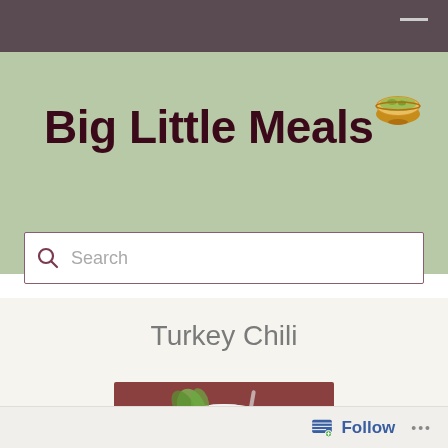Big Little Meals
[Figure (logo): Bowl with food icon logo for Big Little Meals blog]
[Figure (screenshot): Search bar with magnifying glass icon and placeholder text 'Search']
Turkey Chili
[Figure (photo): Photo of turkey chili in a bowl with green herbs/leaves garnish, reddish-brown background]
Follow ...